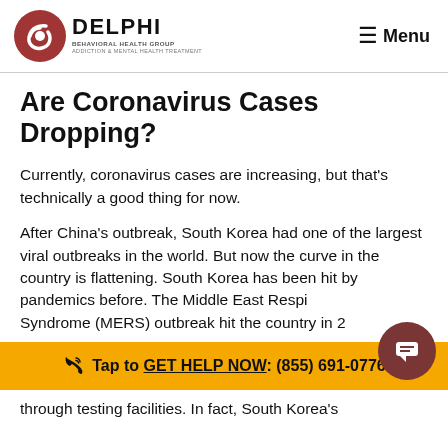Delphi Behavioral Health Group — ADDICTION & MENTAL HEALTH TREATMENT | Menu
Are Coronavirus Cases Dropping?
Currently, coronavirus cases are increasing, but that's technically a good thing for now.
After China's outbreak, South Korea had one of the largest viral outbreaks in the world. But now the curve in the country is flattening. South Korea has been hit by pandemics before. The Middle East Respiratory Syndrome (MERS) outbreak hit the country in 2015,
Tap to GET HELP NOW: (855) 691-0776
through testing facilities. In fact, South Korea's